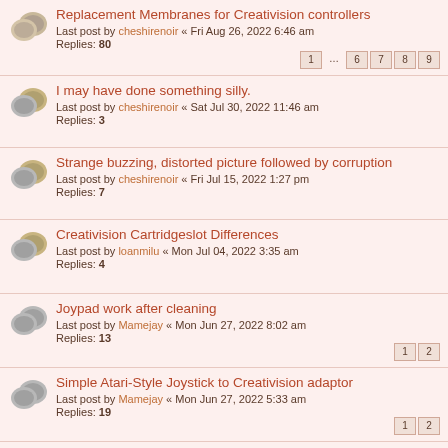Replacement Membranes for Creativision controllers
Last post by cheshirenoir « Fri Aug 26, 2022 6:46 am
Replies: 80
Pages: 1 … 6 7 8 9
I may have done something silly.
Last post by cheshirenoir « Sat Jul 30, 2022 11:46 am
Replies: 3
Strange buzzing, distorted picture followed by corruption
Last post by cheshirenoir « Fri Jul 15, 2022 1:27 pm
Replies: 7
Creativision Cartridgeslot Differences
Last post by loanmilu « Mon Jul 04, 2022 3:35 am
Replies: 4
Joypad work after cleaning
Last post by Mamejay « Mon Jun 27, 2022 8:02 am
Replies: 13
Pages: 1 2
Simple Atari-Style Joystick to Creativision adaptor
Last post by Mamejay « Mon Jun 27, 2022 5:33 am
Replies: 19
Pages: 1 2
How to build a creatiVision power supply
Last post by Scouter3d « Fri Jun 17, 2022 5:21 am
Replies: 43
Pages: 1 2 3 4 5